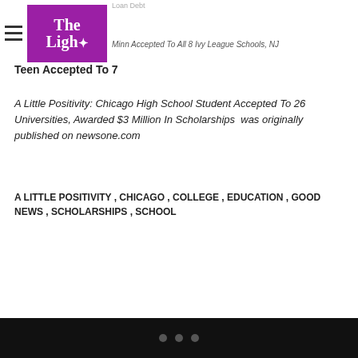Loan Debt
[Figure (logo): The Light logo — purple/magenta square background with white serif text 'The' and 'Ligh' with a star/asterisk symbol, forming 'The Light' publication logo]
Min [Minnesota Teen] Accepted To All 8 Ivy League Schools, NJ Teen Accepted To 7
Teen Accepted To 7
A Little Positivity: Chicago High School Student Accepted To 26 Universities, Awarded $3 Million In Scholarships  was originally published on newsone.com
A LITTLE POSITIVITY , CHICAGO , COLLEGE , EDUCATION , GOOD NEWS , SCHOLARSHIPS , SCHOOL
• • •